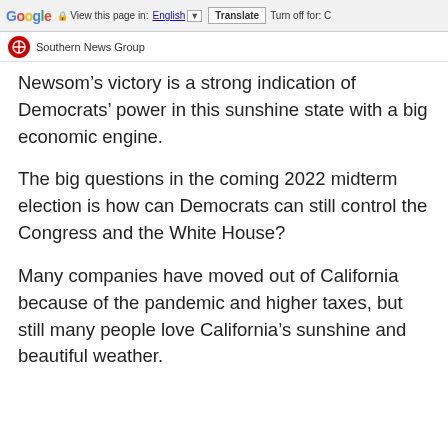Google  View this page in: English ▼  Translate  Turn off for: C
Southern News Group
Newsom’s victory is a strong indication of Democrats’ power in this sunshine state with a big economic engine.
The big questions in the coming 2022 midterm election is how can Democrats can still control the Congress and the White House?
Many companies have moved out of California because of the pandemic and higher taxes, but still many people love California’s sunshine and beautiful weather.